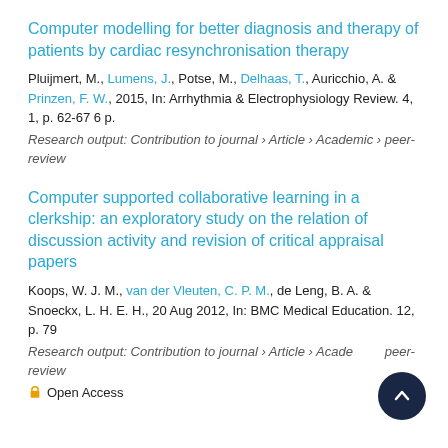Computer modelling for better diagnosis and therapy of patients by cardiac resynchronisation therapy
Pluijmert, M., Lumens, J., Potse, M., Delhaas, T., Auricchio, A. & Prinzen, F. W., 2015, In: Arrhythmia & Electrophysiology Review. 4, 1, p. 62-67 6 p.
Research output: Contribution to journal › Article › Academic › peer-review
Computer supported collaborative learning in a clerkship: an exploratory study on the relation of discussion activity and revision of critical appraisal papers
Koops, W. J. M., van der Vleuten, C. P. M., de Leng, B. A. & Snoeckx, L. H. E. H., 20 Aug 2012, In: BMC Medical Education. 12, p. 79
Research output: Contribution to journal › Article › Academic › peer-review
Open Access